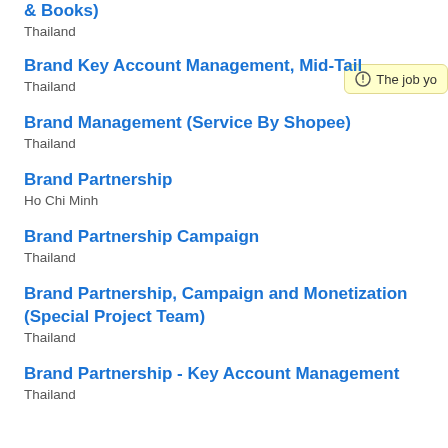& Books)
Thailand
Brand Key Account Management, Mid-Tail
Thailand
Brand Management (Service By Shopee)
Thailand
Brand Partnership
Ho Chi Minh
Brand Partnership Campaign
Thailand
Brand Partnership, Campaign and Monetization (Special Project Team)
Thailand
Brand Partnership - Key Account Management
Thailand